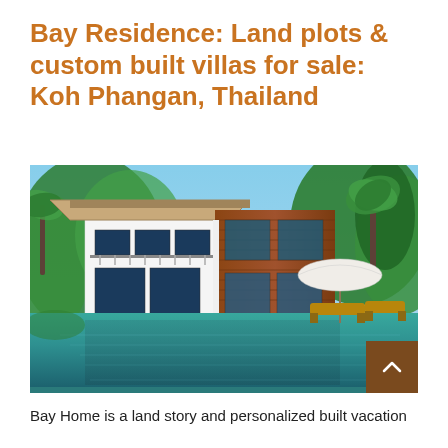Bay Residence: Land plots & custom built villas for sale: Koh Phangan, Thailand
[Figure (photo): Modern two-story villa with wood and white exterior, large windows, balcony, surrounded by tropical greenery, with a swimming pool in the foreground reflecting the building. A white umbrella with lounge chairs visible to the right.]
Bay Home is a land story and personalized built vacation